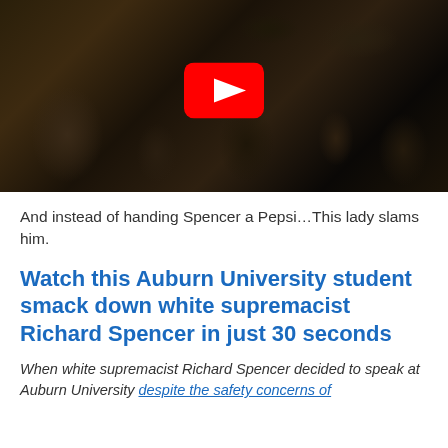[Figure (screenshot): YouTube video thumbnail showing a crowd scene at night with a red YouTube play button overlay]
And instead of handing Spencer a Pepsi…This lady slams him.
Watch this Auburn University student smack down white supremacist Richard Spencer in just 30 seconds
When white supremacist Richard Spencer decided to speak at Auburn University despite the safety concerns of